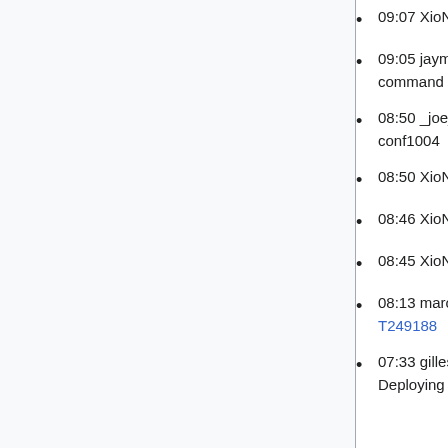09:07 XioNoX: restart cr2-eqord for upgrade - T243080
09:05 jayme@deploy1001: helmfile [STAGING] Ran 'sync' command on namespace 'blubberoid' for release 'staging' .
08:50 _joe_: upgrading etcd ACLs (adding new users) to conf1004
08:50 XioNoX: install new Junos on cr2-eqord - T243080
08:46 XioNoX: deactivate peering/transit on cr2-eqord - T243080
08:45 XioNoX: de-pref all OSPF links to cr2-eqord - T243080
08:13 marostegui: Pool db1141 into labsdb analytics role - T249188
07:33 gilles@deploy1001: Synchronized static/images: T252108 Deploying optimised static